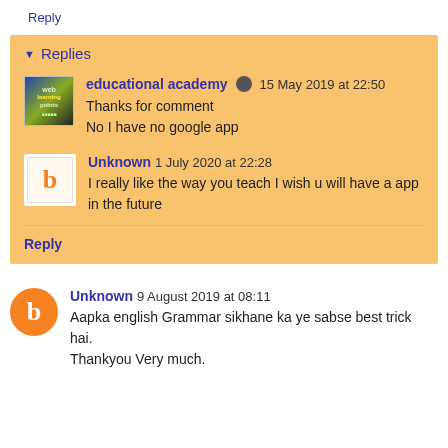Reply
▼ Replies
educational academy  15 May 2019 at 22:50
Thanks for comment
No I have no google app
Unknown  1 July 2020 at 22:28
I really like the way you teach I wish u will have a app in the future
Reply
Unknown  9 August 2019 at 08:11
Aapka english Grammar sikhane ka ye sabse best trick hai.
Thankyou Very much.